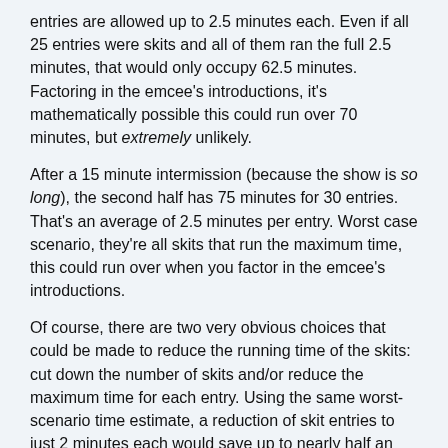entries are allowed up to 2.5 minutes each. Even if all 25 entries were skits and all of them ran the full 2.5 minutes, that would only occupy 62.5 minutes. Factoring in the emcee's introductions, it's mathematically possible this could run over 70 minutes, but extremely unlikely.
After a 15 minute intermission (because the show is so long), the second half has 75 minutes for 30 entries. That's an average of 2.5 minutes per entry. Worst case scenario, they're all skits that run the maximum time, this could run over when you factor in the emcee's introductions.
Of course, there are two very obvious choices that could be made to reduce the running time of the skits: cut down the number of skits and/or reduce the maximum time for each entry. Using the same worst-scenario time estimate, a reduction of skit entries to just 2 minutes each would save up to nearly half an hour. What story can you tell in 2.5 minutes that you can't tell in 2? Keep the performance times short to keep things moving. Nothing drags down the excitement of a costume contest like a poor skit that seems like it never ends.
Why do walk-ons get 90 seconds? Some costume contests even restrict skits to 60 seconds, so cutting back the walk-ons should be